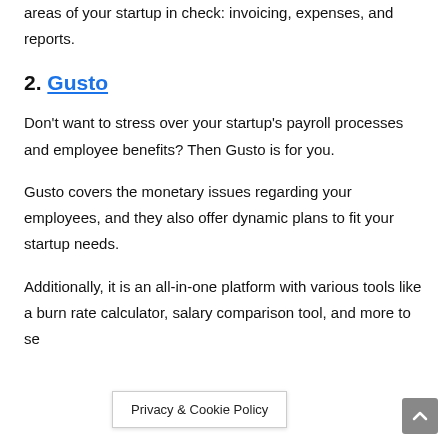areas of your startup in check: invoicing, expenses, and reports.
2. Gusto
Don't want to stress over your startup's payroll processes and employee benefits? Then Gusto is for you.
Gusto covers the monetary issues regarding your employees, and they also offer dynamic plans to fit your startup needs.
Additionally, it is an all-in-one platform with various tools like a burn rate calculator, salary comparison tool, and more to se…
Privacy & Cookie Policy